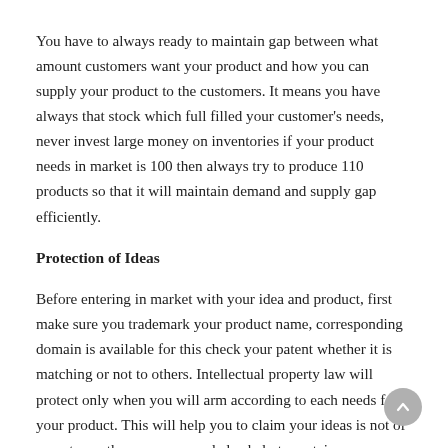You have to always ready to maintain gap between what amount customers want your product and how you can supply your product to the customers. It means you have always that stock which full filled your customer's needs, never invest large money on inventories if your product needs in market is 100 then always try to produce 110 products so that it will maintain demand and supply gap efficiently.
Protection of Ideas
Before entering in market with your idea and product, first make sure you trademark your product name, corresponding domain is available for this check your patent whether it is matching or not to others. Intellectual property law will protect only when you will arm according to each needs for your product. This will help you to claim your ideas is not of copy to another company and also help to sustain your business for long term.